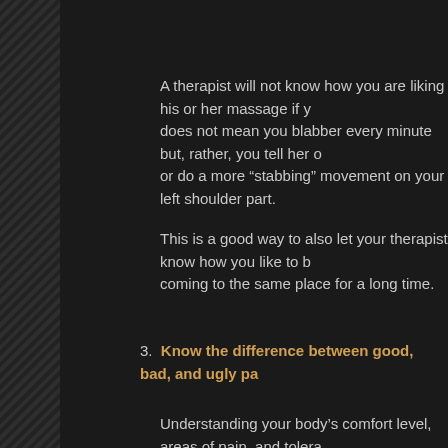A therapist will not know how you are liking his or her massage if y... does not mean you blabber every minute but, rather, you tell her o... or do a more “stabbing” movement on your left shoulder part.
This is a good way to also let your therapist know how you like to b... coming to the same place for a long time.
3. Know the difference between good, bad, and ugly pa...
Understanding your body’s comfort level, areas of pain, and tolera... close estimate of your desired pressure level. Simply put, you nee... sessions (preferably each with a varying pressure, style, focus po...
A “good pain” is a level which is a bit above your tolerated press...